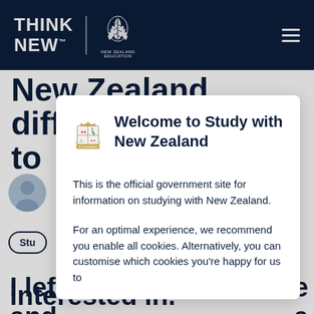THINK NEW | NEW ZEALAND EDUCATION
New Zealand different to
[Figure (screenshot): Cookie consent modal dialog for Study with New Zealand website. Modal shows NZ government crest, title 'Welcome to Study with New Zealand', and cookie consent text.]
Welcome to Study with New Zealand
This is the official government site for information on studying with New Zealand.
For an optimal experience, we recommend you enable all cookies. Alternatively, you can customise which cookies you're happy for us to